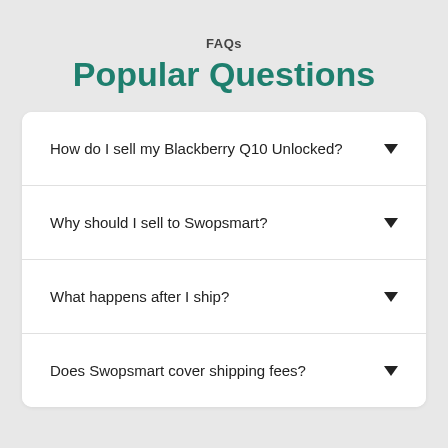FAQs
Popular Questions
How do I sell my Blackberry Q10 Unlocked?
Why should I sell to Swopsmart?
What happens after I ship?
Does Swopsmart cover shipping fees?